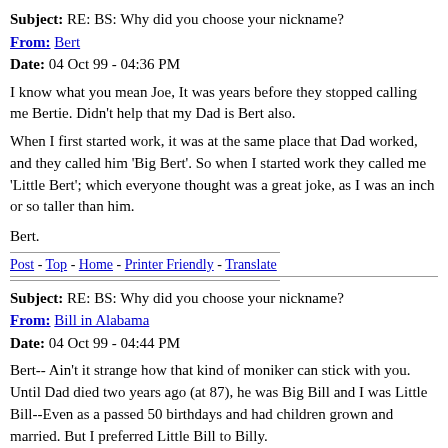Subject: RE: BS: Why did you choose your nickname?
From: Bert
Date: 04 Oct 99 - 04:36 PM
I know what you mean Joe, It was years before they stopped calling me Bertie. Didn't help that my Dad is Bert also.
When I first started work, it was at the same place that Dad worked, and they called him 'Big Bert'. So when I started work they called me 'Little Bert'; which everyone thought was a great joke, as I was an inch or so taller than him.
Bert.
Post - Top - Home - Printer Friendly - Translate
Subject: RE: BS: Why did you choose your nickname?
From: Bill in Alabama
Date: 04 Oct 99 - 04:44 PM
Bert-- Ain't it strange how that kind of moniker can stick with you. Until Dad died two years ago (at 87), he was Big Bill and I was Little Bill--Even as a passed 50 birthdays and had children grown and married. But I preferred Little Bill to Billy.